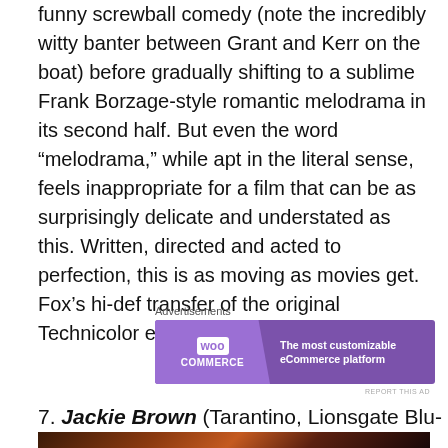funny screwball comedy (note the incredibly witty banter between Grant and Kerr on the boat) before gradually shifting to a sublime Frank Borzage-style romantic melodrama in its second half. But even the word “melodrama,” while apt in the literal sense, feels inappropriate for a film that can be as surprisingly delicate and understated as this. Written, directed and acted to perfection, this is as moving as movies get. Fox’s hi-def transfer of the original Technicolor elements is pleasing and true.
Advertisements
[Figure (other): WooCommerce advertisement banner: purple background with WooCommerce logo on the left and text 'The most customizable eCommerce platform' on the right]
REPORT THIS AD
7. Jackie Brown (Tarantino, Lionsgate Blu-ray)
[Figure (photo): Dark photo, partially visible at the bottom of the page, showing warm red/orange tones]